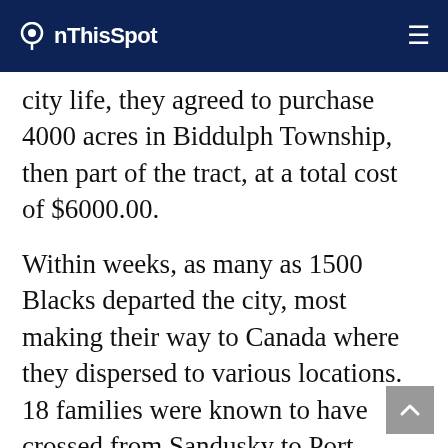OnThisSpot
city life, they agreed to purchase 4000 acres in Biddulph Township, then part of the tract, at a total cost of $6000.00.
Within weeks, as many as 1500 Blacks departed the city, most making their way to Canada where they dispersed to various locations. 18 families were known to have crossed from Sandusky to Port Stanley, but only 5 or 6 of them walked the additional 35 miles to the township which had just been surveyed. Funding the immense purchase had proved impossible and only at the last